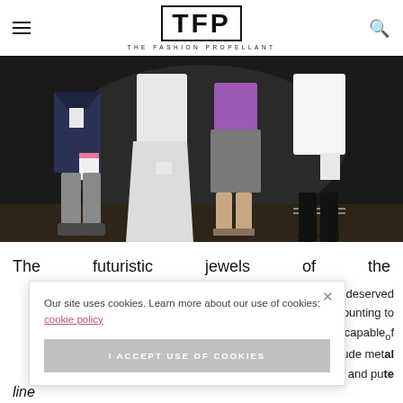TFP THE FASHION PROPELLANT
[Figure (photo): Fashion show photo showing four people standing in front of a dark backdrop. From left: a man in dark blazer and grey pants holding papers, a woman in long white dress, a woman in grey skirt with purple top, and a woman in white embroidered top with leggings. The photo is cropped from waist/chest down.]
The futuristic jewels of the
deserved amounting to ment capable of s include metal size and pute
Our site uses cookies. Learn more about our use of cookies: cookie policy
I ACCEPT USE OF COOKIES
line